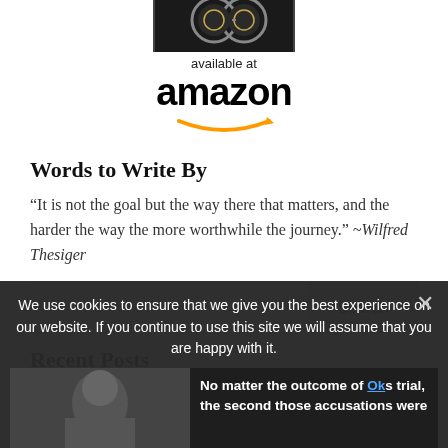[Figure (illustration): Partial view of a book with decorative cover, cropped at top of page]
[Figure (logo): Amazon logo with 'available at' text above and orange smile arrow beneath the word 'amazon']
Words to Write By
“It is not the goal but the way there that matters, and the harder the way the more worthwhile the journey.” –Wilfred Thesiger
[Figure (screenshot): Search input box with Search button]
Recent Posts
We use cookies to ensure that we give you the best experience on our website. If you continue to use this site we will assume that you are happy with it.
No matter the outcome of Ok’s trial, the second those accusations were